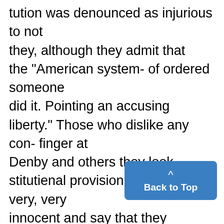tution was denounced as injurious to not they, although they admit that the "American system- of ordered someone did it. Pointing an accusing liberty." Those who dislike any con- finger at Denby and others they look stitutienal provision or law should very, very innocent and say that they confine their opposition to legal could never have done such a thing. means, it was stated. This is not the significant point, how- At the outset of his message, M salient fact is that some- Coolidge remarked that